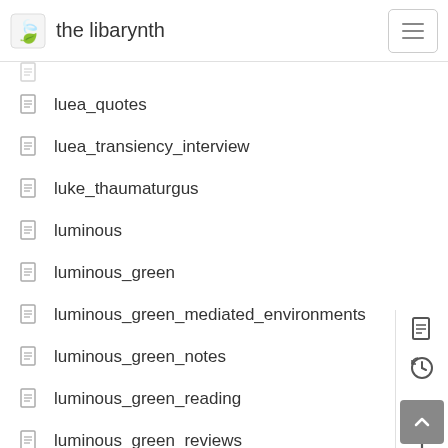the libarynth
luea_quotes
luea_transiency_interview
luke_thaumaturgus
luminous
luminous_green
luminous_green_mediated_environments
luminous_green_notes
luminous_green_reading
luminous_green_reviews
luminous_green_summaries
luminous_green_workshop
luminous_organism
luther_blissett
lyta_membrane
lyx
l_u_e_a_l_i_n_k_s
machines_of_loving_grace
machine_centred_humanz